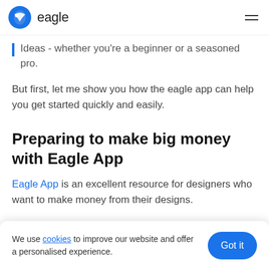eagle
Ideas - whether you're a beginner or a seasoned pro.
But first, let me show you how the eagle app can help you get started quickly and easily.
Preparing to make big money with Eagle App
Eagle App is an excellent resource for designers who want to make money from their designs.
We use cookies to improve our website and offer a personalised experience.